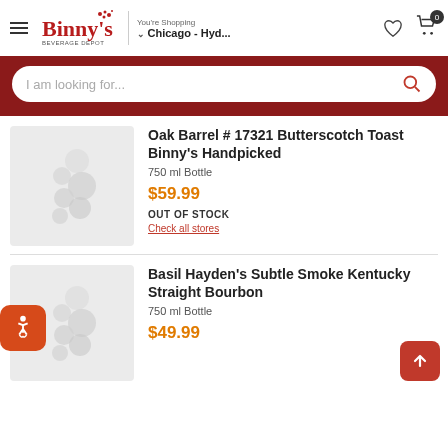You're Shopping ▾ Chicago - Hyd...
[Figure (logo): Binny's Beverage Depot logo in red]
I am looking for...
Oak Barrel # 17321 Butterscotch Toast Binny's Handpicked
750 ml Bottle
$59.99
OUT OF STOCK
Check all stores
Basil Hayden's Subtle Smoke Kentucky Straight Bourbon
750 ml Bottle
$49.99